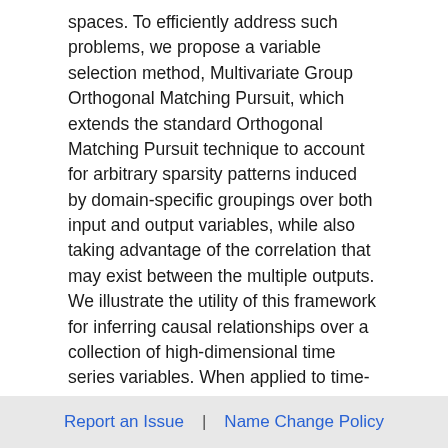spaces. To efficiently address such problems, we propose a variable selection method, Multivariate Group Orthogonal Matching Pursuit, which extends the standard Orthogonal Matching Pursuit technique to account for arbitrary sparsity patterns induced by domain-specific groupings over both input and output variables, while also taking advantage of the correlation that may exist between the multiple outputs. We illustrate the utility of this framework for inferring causal relationships over a collection of high-dimensional time series variables. When applied to time-evolving social media content, our models yield a new family of causality-based influence measures that may be seen as an alternative to PageRank. Theoretical guarantees, extensive simulations and empirical studies confirm the generality and value of our framework.
Report an Issue  |  Name Change Policy